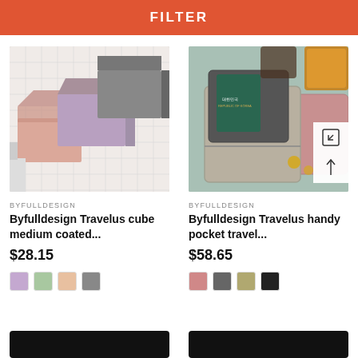FILTER
[Figure (photo): Three fabric cube pouches in pink, purple, and gray on a white grid tile surface]
BYFULLDESIGN
Byfulldesign Travelus cube medium coated...
$28.15
[Figure (photo): Travel wallets/passport holders in beige and dark gray with drinks and a pink cosmetic pouch on a light blue background, with expand/scroll icons overlaid]
BYFULLDESIGN
Byfulldesign Travelus handy pocket travel...
$58.65